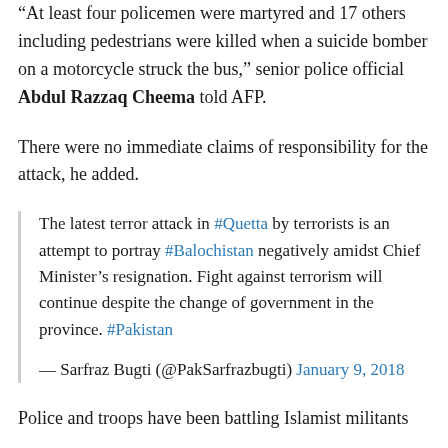“At least four policemen were martyred and 17 others including pedestrians were killed when a suicide bomber on a motorcycle struck the bus,” senior police official Abdul Razzaq Cheema told AFP.
There were no immediate claims of responsibility for the attack, he added.
The latest terror attack in #Quetta by terrorists is an attempt to portray #Balochistan negatively amidst Chief Minister’s resignation. Fight against terrorism will continue despite the change of government in the province. #Pakistan
— Sarfraz Bugti (@PakSarfrazbugti) January 9, 2018
Police and troops have been battling Islamist militants